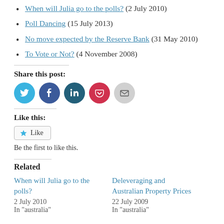When will Julia go to the polls? (2 July 2010)
Poll Dancing (15 July 2013)
No move expected by the Reserve Bank (31 May 2010)
To Vote or Not? (4 November 2008)
Share this post:
[Figure (infographic): Social share buttons: Twitter (blue), Facebook (dark blue), LinkedIn (dark teal), Pocket (red), Email (grey)]
Like this:
Like
Be the first to like this.
Related
When will Julia go to the polls?
2 July 2010
In "australia"
Deleveraging and Australian Property Prices
22 July 2009
In "australia"